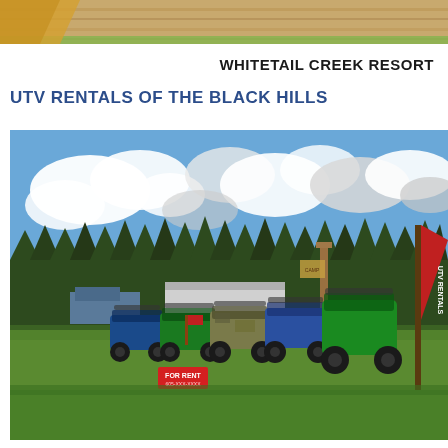[Figure (photo): Top strip of a wooden fence or log structure with green grass visible below, cropped at the top of the page.]
WHITETAIL CREEK RESORT
UTV RENTALS OF THE BLACK HILLS
[Figure (photo): Outdoor photo of a fleet of UTVs (utility terrain vehicles) lined up in a row on a green lawn at Whitetail Creek Resort. The vehicles are various colors including green, blue, and camo. A red 'FOR RENT' sign is visible in the foreground. A red UTV RENTALS banner/flag stands prominently on the right side. Pine trees and a partly cloudy blue sky are visible in the background, along with an RV and a truck.]